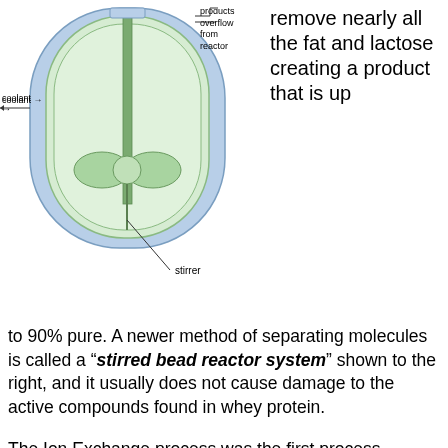[Figure (engineering-diagram): Cross-section diagram of a stirred bead reactor system showing a cylindrical vessel with coolant jacket (blue), green interior with stirrer mechanism and bead-holding impeller, with labels for 'coolant', 'products overflow from reactor', and 'stirrer'.]
remove nearly all the fat and lactose creating a product that is up to 90% pure. A newer method of separating molecules is called a "stirred bead reactor system" shown to the right, and it usually does not cause damage to the active compounds found in whey protein.
The Ion Exchange process was the first process developed to produce whey protein isolates from Whey Protein Concentrate. Because ion exchange was the only way to produce WPI early on, it was then considered to be the highest quality isolate.